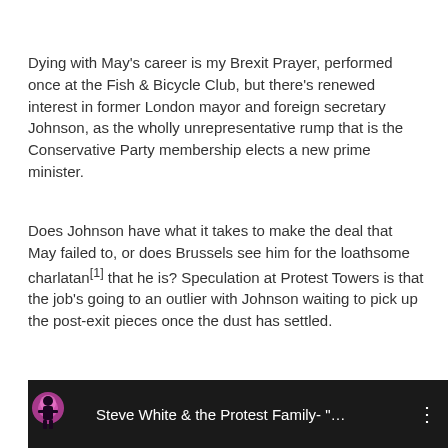Dying with May's career is my Brexit Prayer, performed once at the Fish & Bicycle Club, but there's renewed interest in former London mayor and foreign secretary Johnson, as the wholly unrepresentative rump that is the Conservative Party membership elects a new prime minister.
Does Johnson have what it takes to make the deal that May failed to, or does Brussels see him for the loathsome charlatan[1] that he is? Speculation at Protest Towers is that the job's going to an outlier with Johnson waiting to pick up the post-exit pieces once the dust has settled.
In any event, we know a song (or two) about him.
Steve
[Figure (screenshot): Video thumbnail showing Steve White & the Protest Family with colorful stage lighting on the left and video title text on dark background]